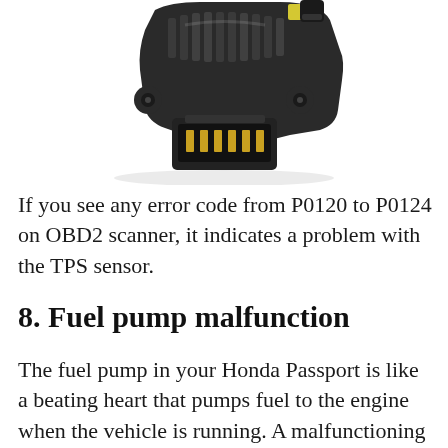[Figure (photo): A black automotive throttle position sensor (TPS) photographed against a white background, showing its connector plug and mounting details.]
If you see any error code from P0120 to P0124 on OBD2 scanner, it indicates a problem with the TPS sensor.
8. Fuel pump malfunction
The fuel pump in your Honda Passport is like a beating heart that pumps fuel to the engine when the vehicle is running. A malfunctioning fuel pump can result in irregular or decreased acceleration, poor